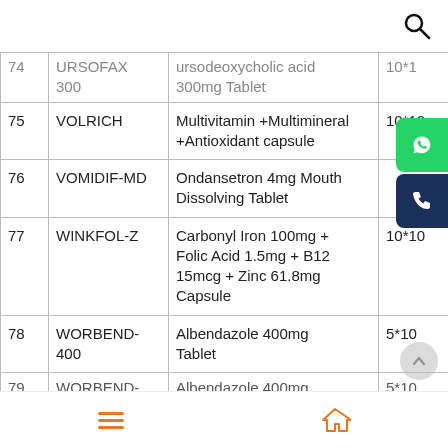| # | Brand | Composition | Pack |
| --- | --- | --- | --- |
| 74 | URSOFAX 300 | ursodeoxycholic acid 300mg Tablet | 10*1 |
| 75 | VOLRICH | Multivitamin +Multimineral +Antioxidant capsule | 10*10 |
| 76 | VOMIDIF-MD | Ondansetron 4mg Mouth Dissolving Tablet |  |
| 77 | WINKFOL-Z | Carbonyl Iron 100mg + Folic Acid 1.5mg + B12 15mcg + Zinc 61.8mg Capsule | 10*10 |
| 78 | WORBEND-400 | Albendazole 400mg Tablet | 5*10 |
| 79 | WORBEND- | Albendazole 400mg | 5*10 |
Navigation bar with menu and home icons